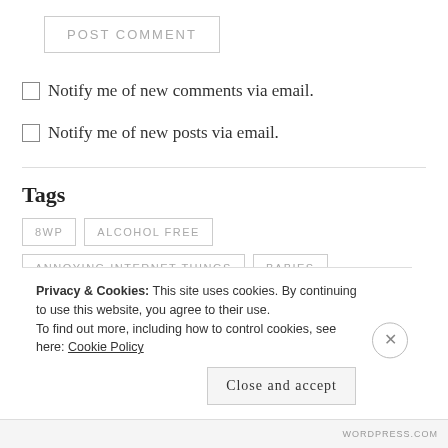POST COMMENT
Notify me of new comments via email.
Notify me of new posts via email.
Tags
8WP
ALCOHOL FREE
ANNOYING INTERNET THINGS
BABIES
Privacy & Cookies: This site uses cookies. By continuing to use this website, you agree to their use.
To find out more, including how to control cookies, see here: Cookie Policy
Close and accept